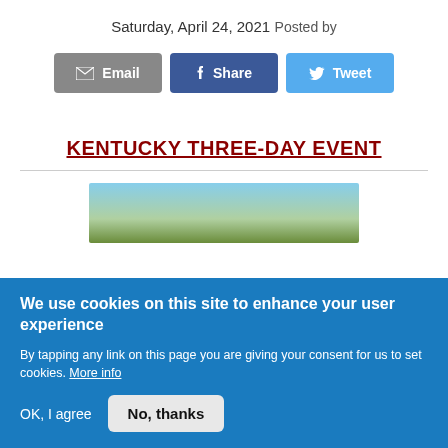Saturday, April 24, 2021
Posted by
[Figure (other): Social sharing buttons: Email (grey), Share (dark blue/Facebook), Tweet (light blue/Twitter)]
KENTUCKY THREE-DAY EVENT
[Figure (photo): Partial photo showing trees and sky, outdoor equestrian event venue]
We use cookies on this site to enhance your user experience
By tapping any link on this page you are giving your consent for us to set cookies. More info
OK, I agree
No, thanks